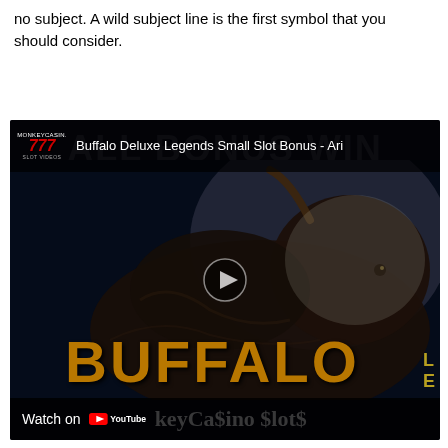...symbol. A wild subject line is the first symbol that you should consider.
[Figure (screenshot): YouTube video embed thumbnail showing 'Buffalo Deluxe Legends Small Slot Bonus - Ari...' with MonkeyCasino 777 Slot Videos channel logo, a dark buffalo image, play button, golden BUFFALO text, and Watch on YouTube bar at bottom]